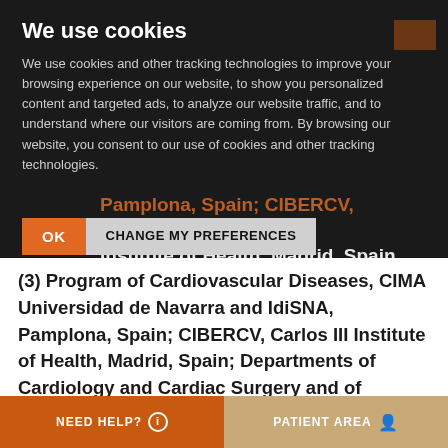We use cookies
We use cookies and other tracking technologies to improve your browsing experience on our website, to show you personalized content and targeted ads, to analyze our website traffic, and to understand where our visitors are coming from. By browsing our website, you consent to our use of cookies and other tracking technologies.
OK | CHANGE MY PREFERENCES
Pamplona, Spain; CIBERCV, Carlos III Institute of Health, Madrid, Spain.
(3) Program of Cardiovascular Diseases, CIMA Universidad de Navarra and IdiSNA, Pamplona, Spain; CIBERCV, Carlos III Institute of Health, Madrid, Spain; Departments of Cardiology and Cardiac Surgery and of Nephrology, Clínica Universidad de Navarra, Pamplona, Spain.
NEED HELP?   PATIENT AREA